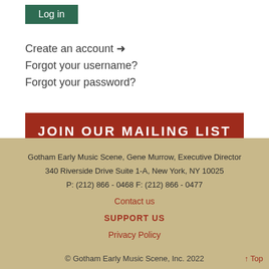Log in
Create an account → 
Forgot your username?
Forgot your password?
JOIN OUR MAILING LIST
Gotham Early Music Scene, Gene Murrow, Executive Director
340 Riverside Drive Suite 1-A, New York, NY 10025
P: (212) 866 - 0468 F: (212) 866 - 0477
Contact us
SUPPORT US
Privacy Policy
© Gotham Early Music Scene, Inc. 2022
↑ Top